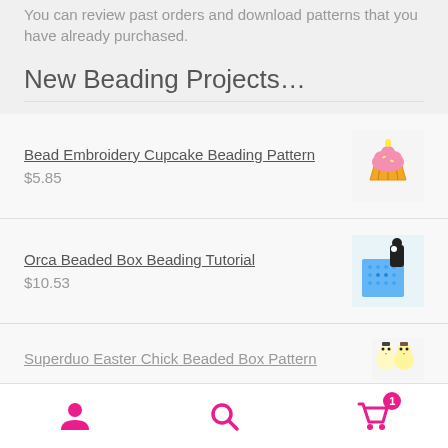You can review past orders and download patterns that you have already purchased.
New Beading Projects…
Bead Embroidery Cupcake Beading Pattern
$5.85
Orca Beaded Box Beading Tutorial
$10.53
Superduo Easter Chick Beaded Box Pattern